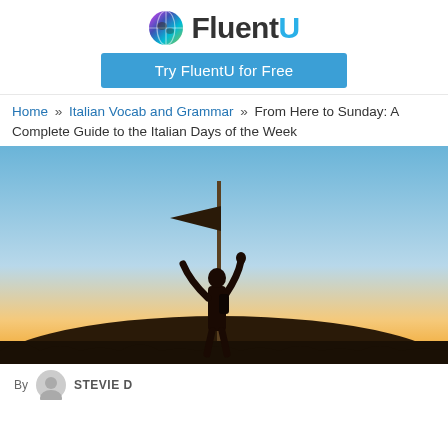[Figure (logo): FluentU logo with colorful globe icon and bold text 'FluentU' in dark/blue]
[Figure (other): Blue button with text 'Try FluentU for Free']
Home » Italian Vocab and Grammar » From Here to Sunday: A Complete Guide to the Italian Days of the Week
[Figure (photo): Silhouette of a person holding a flag pole with flag waving, standing on a hill at sunset with warm golden and blue sky tones]
By STEVIE D